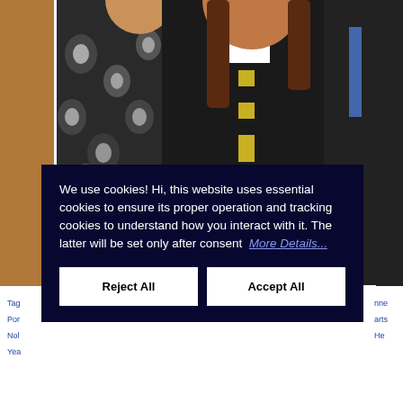[Figure (photo): Group photo of three people posing together indoors. Left person wearing a black and white floral/leaf print dress. Center appears to be a young person in a dark school uniform holding a trophy/award. Right person partially visible wearing a dark suit and blue tie.]
Tag ... nne ... Por ... arts Nol ... He Yea ...
We use cookies! Hi, this website uses essential cookies to ensure its proper operation and tracking cookies to understand how you interact with it. The latter will be set only after consent  More Details...
Reject All
Accept All